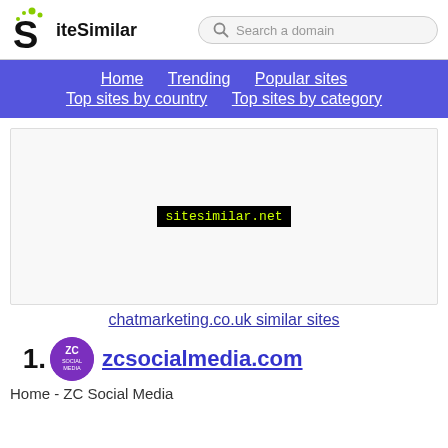SiteSimilar — Search a domain
Home  Trending  Popular sites  Top sites by country  Top sites by category
[Figure (screenshot): Advertisement banner area showing sitesimilar.net text in green on black background]
chatmarketing.co.uk similar sites
51. zcsocialmedia.com
Home - ZC Social Media